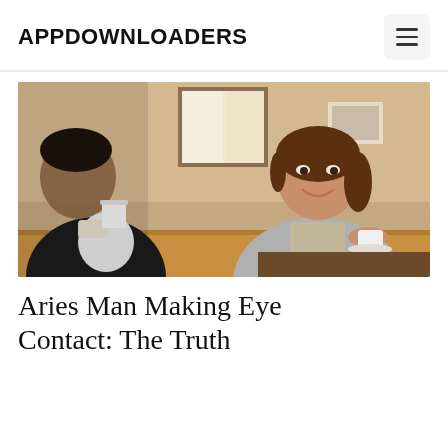APPDOWNLOADERS
[Figure (photo): A man and woman sitting across from each other in a cafe. The man on the left is out of focus, holding a white coffee cup. The woman on the right smiles and makes eye contact with the camera. Warm cafe interior with wooden table.]
Aries Man Making Eye Contact: The Truth